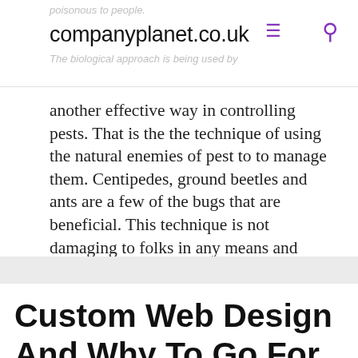companyplanet.co.uk
another effective way in controlling pests. That is the the technique of using the natural enemies of pest to to manage them. Centipedes, ground beetles and ants are a few of the bugs that are beneficial. This technique is not damaging to folks in any means and could be applied effectively.
Custom Web Design And Why To Go For It